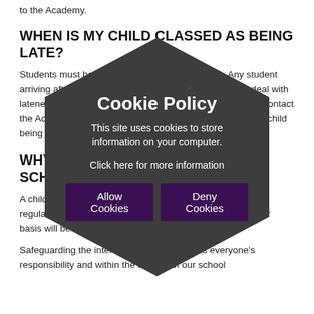to the Academy.
WHEN IS MY CHILD CLASSED AS BEING LATE?
Students must be in school no later than 8.20am. Any student arriving after this time will be marked as late. Failure to deal with lateness will result in a C30 (30 minute detention). Please contact the Academy immediately if there is a valid reason for your child being late to school.
WHY SHOULD MY CHILD ATTEND SCHOOL?
A child may be at risk of harm if they do not attend school regularly. Therefore, failing to attend our school on a regular basis will be considered as a safeguarding matter.
Safeguarding the interests of each student is everyone's responsibility and within the context of our school
[Figure (infographic): Cookie Policy modal dialog overlaid on page content. Dark hexagon shape containing: title 'Cookie Policy', body text 'This site uses cookies to store information on your computer.', link 'Click here for more information', and two buttons: 'Allow Cookies' and 'Deny Cookies'. An X close button appears at the top of the hexagon.]